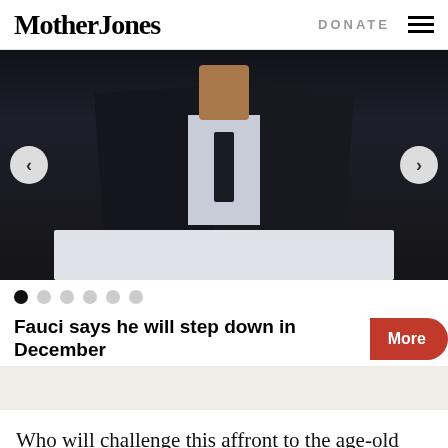Mother Jones  DONATE ☰
[Figure (photo): A man in a dark pinstripe suit with a blue/white shirt and dark tie, photographed from the chest up, holding or sitting behind a white object (laptop or document). Slideshow navigation arrows visible on left and right. Slideshow dot indicators below, with first dot active.]
Fauci says he will step down in December
More
Who will challenge this affront to the age-old practice of seed saving? Surely the U.S. Department of Agriculture, long the champion of the American farmer, will volunteer to be one-